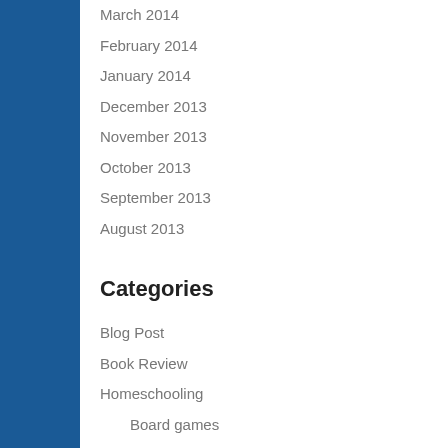March 2014
February 2014
January 2014
December 2013
November 2013
October 2013
September 2013
August 2013
Categories
Blog Post
Book Review
Homeschooling
Board games
General homeschooling
Geography
History
Holidays
Homemaking
Maths